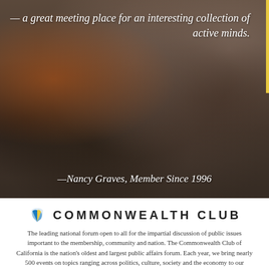[Figure (photo): Crowd of people at an event, used as background image for a quote]
— a great meeting place for an interesting collection of active minds.
—Nancy Graves, Member Since 1996
COMMONWEALTH CLUB
The leading national forum open to all for the impartial discussion of public issues important to the membership, community and nation. The Commonwealth Club of California is the nation's oldest and largest public affairs forum. Each year, we bring nearly 500 events on topics ranging across politics, culture, society and the economy to our members and the public, both in-person and via extensive online and on-air listenership and viewership.